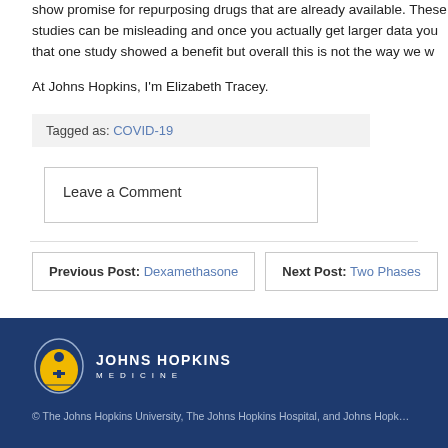show promise for repurposing drugs that are already available. These studies can be misleading and once you actually get larger data you find that one study showed a benefit but overall this is not the way we w…
At Johns Hopkins, I'm Elizabeth Tracey.
Tagged as: COVID-19
Leave a Comment
Previous Post: Dexamethasone   Next Post: Two Phases
[Figure (logo): Johns Hopkins Medicine logo with dome icon and text JOHNS HOPKINS MEDICINE]
© The Johns Hopkins University, The Johns Hopkins Hospital, and Johns Hopk…